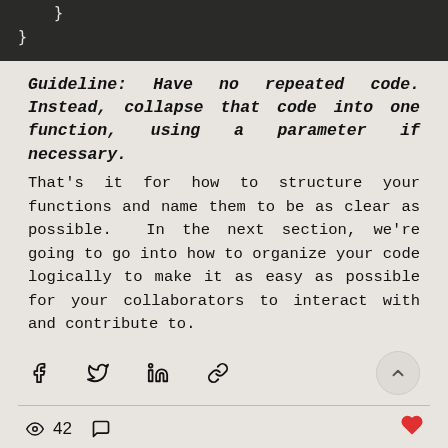}
}
Guideline: Have no repeated code. Instead, collapse that code into one function, using a parameter if necessary.
That's it for how to structure your functions and name them to be as clear as possible. In the next section, we're going to go into how to organize your code logically to make it as easy as possible for your collaborators to interact with and contribute to.
[Figure (infographic): Social share icons: Facebook, Twitter, LinkedIn, link/chain icon, and a scroll-to-top button]
[Figure (infographic): Footer bar with eye/views icon showing 42 views, comment icon, and a red heart/like icon]